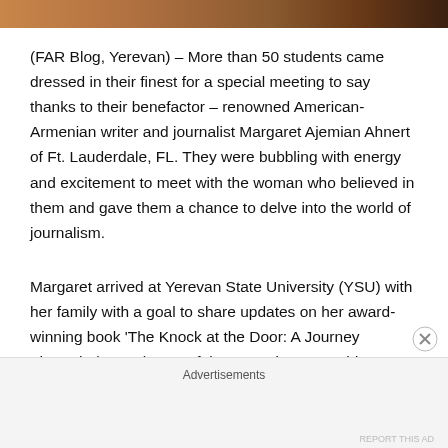[Figure (photo): Top portion of a photo showing interior scene with warm brown tones, partially cropped at top of page]
(FAR Blog, Yerevan) – More than 50 students came dressed in their finest for a special meeting to say thanks to their benefactor – renowned American-Armenian writer and journalist Margaret Ajemian Ahnert of Ft. Lauderdale, FL. They were bubbling with energy and excitement to meet with the woman who believed in them and gave them a chance to delve into the world of journalism.
Margaret arrived at Yerevan State University (YSU) with her family with a goal to share updates on her award-winning book 'The Knock at the Door: A Journey Through the Darkness of the Armenian Genocide,' to inspire her
Advertisements